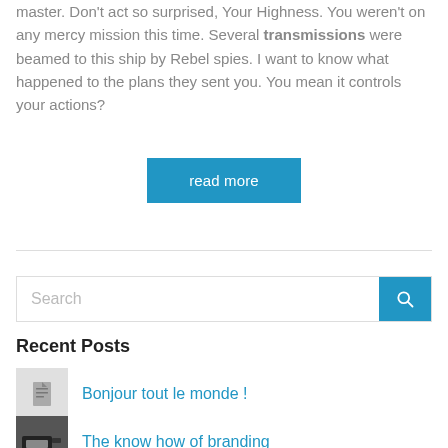master. Don't act so surprised, Your Highness. You weren't on any mercy mission this time. Several transmissions were beamed to this ship by Rebel spies. I want to know what happened to the plans they sent you. You mean it controls your actions?
read more
Search
Recent Posts
Bonjour tout le monde !
The know how of branding